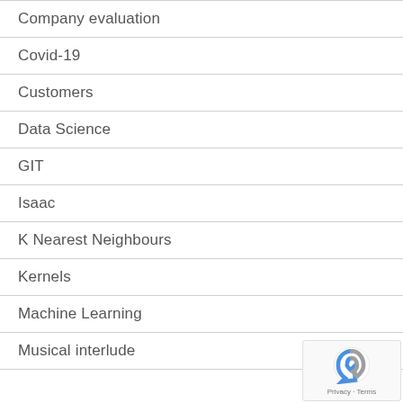Company evaluation
Covid-19
Customers
Data Science
GIT
Isaac
K Nearest Neighbours
Kernels
Machine Learning
Musical interlude